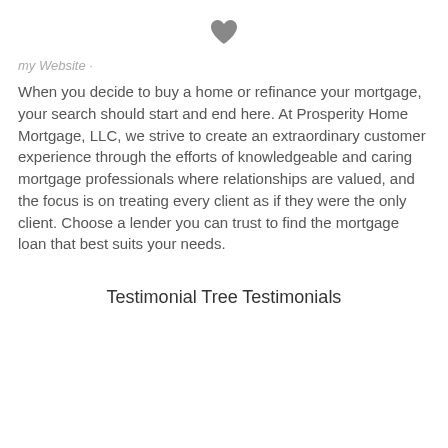[Figure (illustration): A grey heart icon centered at the top of the page]
my Website ·
When you decide to buy a home or refinance your mortgage, your search should start and end here. At Prosperity Home Mortgage, LLC, we strive to create an extraordinary customer experience through the efforts of knowledgeable and caring mortgage professionals where relationships are valued, and the focus is on treating every client as if they were the only client. Choose a lender you can trust to find the mortgage loan that best suits your needs.
Testimonial Tree Testimonials